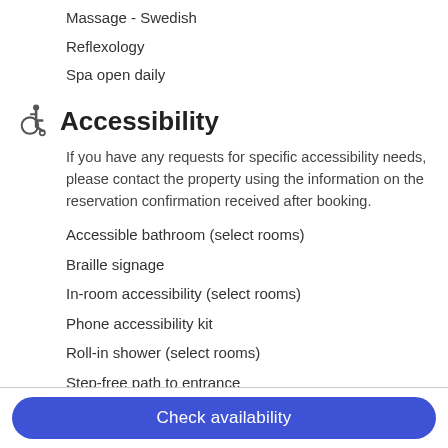Massage - Swedish
Reflexology
Spa open daily
Accessibility
If you have any requests for specific accessibility needs, please contact the property using the information on the reservation confirmation received after booking.
Accessible bathroom (select rooms)
Braille signage
In-room accessibility (select rooms)
Phone accessibility kit
Roll-in shower (select rooms)
Step-free path to entrance
Well-lit path to entrance
Wheelchair-accessible business centre
Check availability